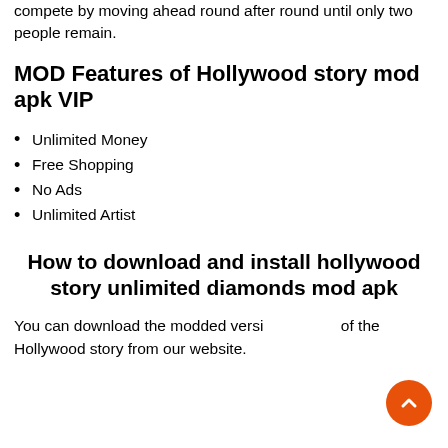compete by moving ahead round after round until only two people remain.
MOD Features of Hollywood story mod apk VIP
Unlimited Money
Free Shopping
No Ads
Unlimited Artist
How to download and install hollywood story unlimited diamonds mod apk
You can download the modded version of the Hollywood story from our website.